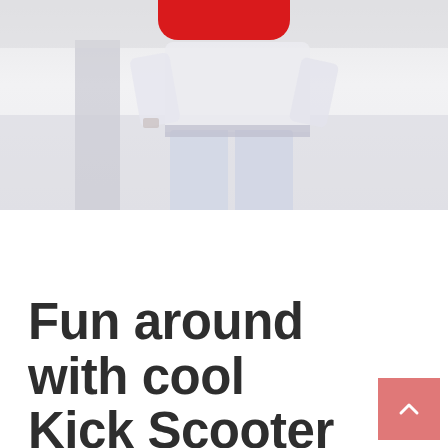[Figure (photo): Photo of a person wearing light-colored clothing (white/light gray), partially visible from torso down, with a red pill-shaped button/logo element at the top. Light gray/white background.]
Fun around with cool Kick Scooter